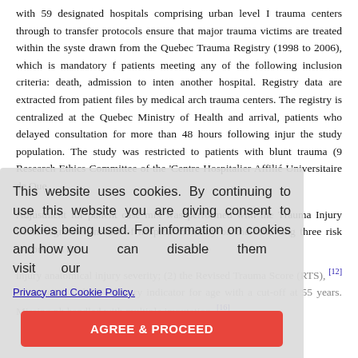with 59 designated hospitals comprising urban level I trauma centers through to transfer protocols ensure that major trauma victims are treated within the system drawn from the Quebec Trauma Registry (1998 to 2006), which is mandatory for patients meeting any of the following inclusion criteria: death, admission to intensive another hospital. Registry data are extracted from patient files by medical archi trauma centers. The registry is centralized at the Quebec Ministry of Health and arrival, patients who delayed consultation for more than 48 hours following injury the study population. The study was restricted to patients with blunt trauma (9 Research Ethics Committee of the 'Centre Hospitalier Affilié Universitaire de Que
Adjustment for patient case mix was performed with the Trauma Injury Severity regression model of hospital mortality on the following three risk factors: (1) the injury anatomical injury severity; (2) the Revised Trauma Score (RTS), [12] ra severity; and (3) a binary indicator for age with a cut-off at 55 years. Missing ph handled with multiple imputation. [16]
This website uses cookies. By continuing to use this website you are giving consent to cookies being used. For information on cookies and how you can disable them visit our Privacy and Cookie Policy. AGREE & PROCEED